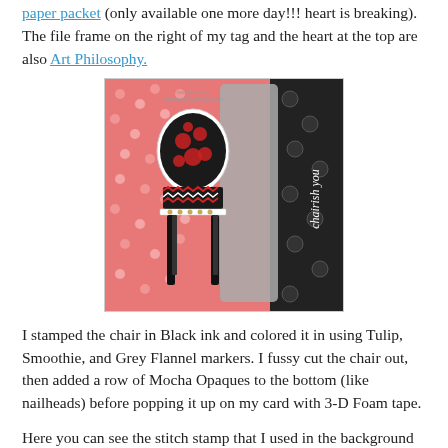paper packet (only available one more day!!! heart is breaking). The file frame on the right of my tag and the heart at the top are also Art Philosophy.
[Figure (photo): A handmade craft card featuring a decorative chair stamp colored with red floral pattern on the back, chevron pattern on the seat, on a background of pink polka dot and black floral patterned paper. A grey tag with 'chairish you' text is visible to the right of the chair.]
I stamped the chair in Black ink and colored it in using Tulip, Smoothie, and Grey Flannel markers. I fussy cut the chair out, then added a row of Mocha Opaques to the bottom (like nailheads) before popping it up on my card with 3-D Foam tape.
Here you can see the stitch stamp that I used in the background instead of adding another layer of paper. I just love a good stitch stamp! I w?rapped the top of my tag in